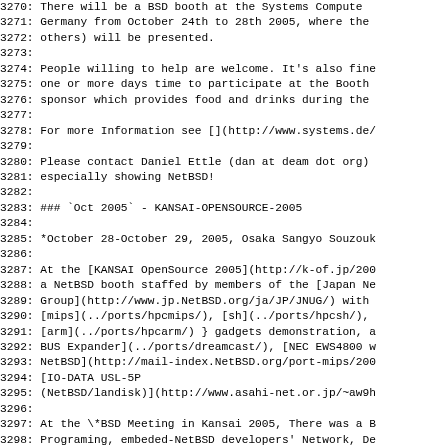3270: There will be a BSD booth at the Systems Compute
3271: Germany from October 24th to 28th 2005, where the
3272: others) will be presented.
3273:
3274: People willing to help are welcome. It's also fine
3275: one or more days time to participate at the Booth
3276: sponsor which provides food and drinks during the
3277:
3278: For more Information see [](http://www.systems.de/
3279:
3280: Please contact Daniel Ettle (dan at deam dot org)
3281: especially showing NetBSD!
3282:
3283: ### `Oct 2005` - KANSAI-OPENSOURCE-2005
3284:
3285: *October 28-October 29, 2005, Osaka Sangyo Souzouk
3286:
3287: At the [KANSAI OpenSource 2005](http://k-of.jp/200
3288: a NetBSD booth staffed by members of the [Japan Ne
3289: Group](http://www.jp.NetBSD.org/ja/JP/JNUG/) with
3290: [mips](../ports/hpcmips/), [sh](../ports/hpcsh/),
3291: [arm](../ports/hpcarm/) } gadgets demonstration, a
3292: BUS Expander](../ports/dreamcast/), [NEC EWS4800 w
3293: NetBSD](http://mail-index.NetBSD.org/port-mips/200
3294: [IO-DATA USL-5P
3295: (NetBSD/landisk)](http://www.asahi-net.or.jp/~aw9h
3296:
3297: At the \*BSD Meeting in Kansai 2005, There was a B
3298: Programing, embeded-NetBSD developers' Network, De
3299: BSD, driven by [Kansai \*BSD Users Group](http://
3300: